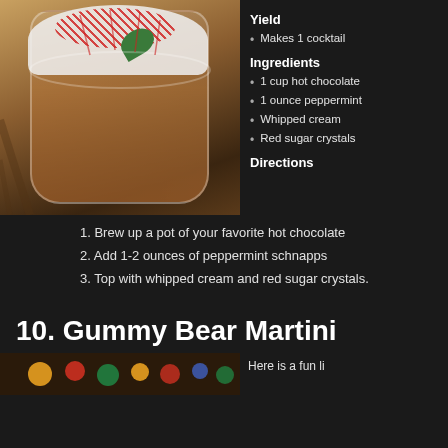[Figure (photo): Overhead view of a hot chocolate cocktail in a glass mug topped with whipped cream, crushed candy canes, and a mint leaf]
Yield
Makes 1 cocktail
Ingredients
1 cup hot chocolate
1 ounce peppermint
Whipped cream
Red sugar crystals
Directions
1. Brew up a pot of your favorite hot chocolate
2. Add 1-2 ounces of peppermint schnapps
3. Top with whipped cream and red sugar crystals.
10. Gummy Bear Martini
[Figure (photo): Partial photo of colorful gummy bear martini ingredients/drink]
Here is a fun li